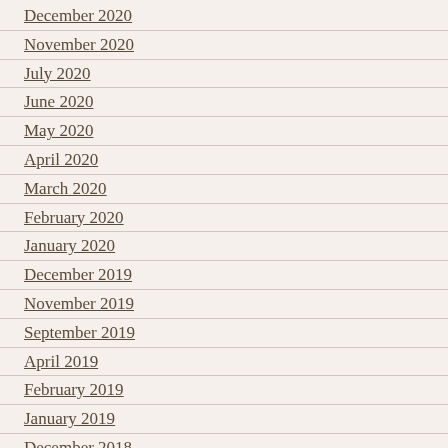December 2020
November 2020
July 2020
June 2020
May 2020
April 2020
March 2020
February 2020
January 2020
December 2019
November 2019
September 2019
April 2019
February 2019
January 2019
December 2018
November 2018
October 2018
April 2018